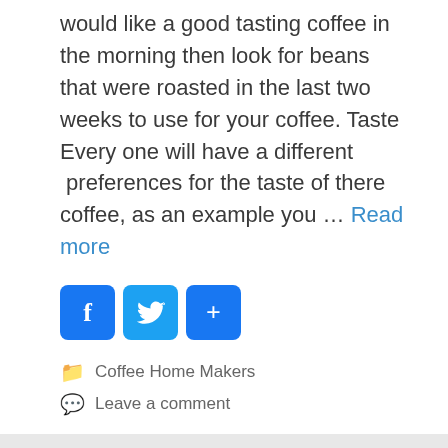would like a good tasting coffee in the morning then look for beans that were roasted in the last two weeks to use for your coffee. Taste Every one will have a different  preferences for the taste of there coffee, as an example you … Read more
[Figure (infographic): Social sharing icons: Facebook (blue f), Twitter (blue bird), and a blue plus/share button]
Coffee Home Makers
Leave a comment
Keurig Coffee Makers